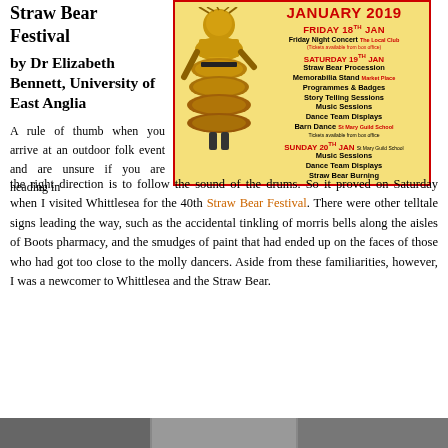Straw Bear Festival
by Dr Elizabeth Bennett, University of East Anglia
[Figure (illustration): Festival event poster for Straw Bear Festival January 2019, showing a stylized straw bear figure on yellow background with event schedule including Friday 18th Jan, Saturday 19th Jan, and Sunday 20th Jan events.]
A rule of thumb when you arrive at an outdoor folk event and are unsure if you are heading in the right direction is to follow the sound of the drums. So it proved on Saturday when I visited Whittlesea for the 40th Straw Bear Festival. There were other telltale signs leading the way, such as the accidental tinkling of morris bells along the aisles of Boots pharmacy, and the smudges of paint that had ended up on the faces of those who had got too close to the molly dancers. Aside from these familiarities, however, I was a newcomer to Whittlesea and the Straw Bear.
[Figure (photo): Bottom photo strip showing people at the festival]